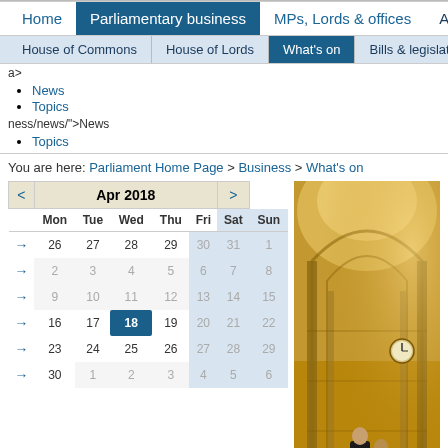Home | Parliamentary business | MPs, Lords & offices | About
House of Commons | House of Lords | What's on | Bills & legislation
a>
News
Topics
ness/news/">News
Topics
You are here: Parliament Home Page > Business > What's on
[Figure (other): April 2018 calendar showing month view with navigation arrows. Dates 26-29 (Mon-Thu) from March shown in first row. April dates 2-30 shown with week arrows. Date 18 highlighted in blue (today). Weekend dates greyed out. Next to calendar is a photo of the interior of the Houses of Parliament showing ornate gothic architecture with clergy figures.]